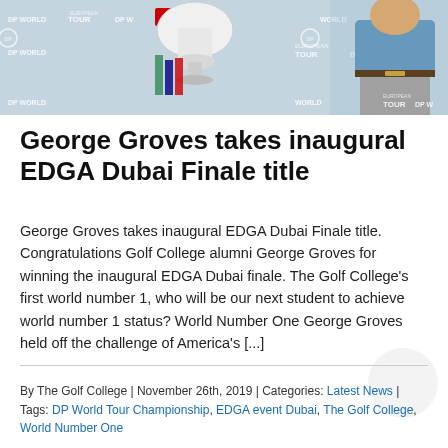[Figure (photo): Photo of a person in blue shirt standing next to a large trophy at a DP World Tour Championship / European Tour backdrop event]
George Groves takes inaugural EDGA Dubai Finale title
George Groves takes inaugural EDGA Dubai Finale title. Congratulations Golf College alumni George Groves for winning the inaugural EDGA Dubai finale. The Golf College's first world number 1, who will be our next student to achieve world number 1 status? World Number One George Groves held off the challenge of America's [...]
By The Golf College | November 26th, 2019 | Categories: Latest News | Tags: DP World Tour Championship, EDGA event Dubai, The Golf College, World Number One